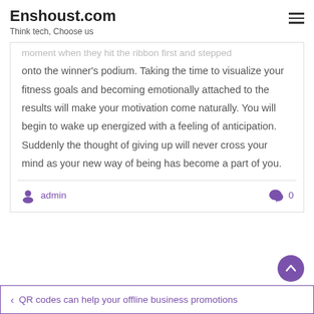Enshoust.com
Think tech, Choose us
moment when they hit the ribbon first and stepped onto the winner's podium. Taking the time to visualize your fitness goals and becoming emotionally attached to the results will make your motivation come naturally. You will begin to wake up energized with a feeling of anticipation. Suddenly the thought of giving up will never cross your mind as your new way of being has become a part of you.
admin   0
‹ QR codes can help your offline business promotions